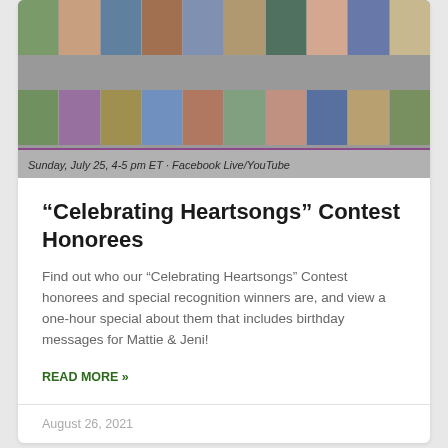[Figure (photo): Collage of people photos used as a banner image with text overlay reading 'Sunday, July 25, 4-5 pm ET · Facebook Live/YouTube']
“Celebrating Heartsongs” Contest Honorees
Find out who our “Celebrating Heartsongs” Contest honorees and special recognition winners are, and view a one-hour special about them that includes birthday messages for Mattie & Jeni!
READ MORE »
August 26, 2021
[Figure (other): Purple/violet background card with a dark green 'CAMPAIGN' badge button in the upper right corner]